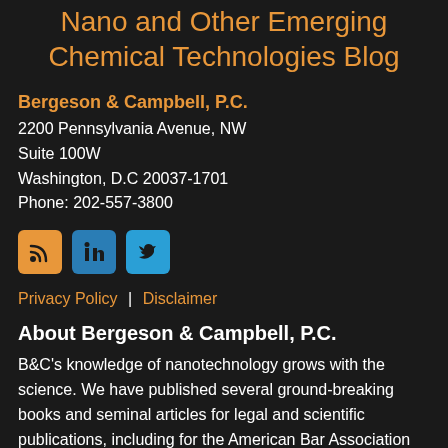Nano and Other Emerging Chemical Technologies Blog
Bergeson & Campbell, P.C.
2200 Pennsylvania Avenue, NW
Suite 100W
Washington, D.C 20037-1701
Phone: 202-557-3800
[Figure (illustration): Three social media icons: RSS feed (orange), LinkedIn (blue), Twitter (blue)]
Privacy Policy | Disclaimer
About Bergeson & Campbell, P.C.
B&C's knowledge of nanotechnology grows with the science. We have published several ground-breaking books and seminal articles for legal and scientific publications, including for the American Bar Association